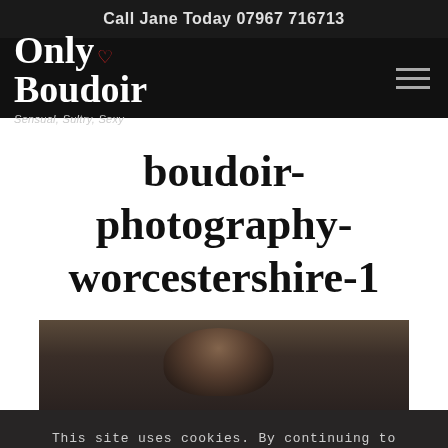Call Jane Today 07967 716713
[Figure (logo): Only Boudoir logo with red heart, tagline: Sensual, Sultry, Sexy. White text on black background with hamburger menu icon on right.]
boudoir-photography-worcestershire-1
[Figure (photo): Partial photograph showing the top of a person's head with brown hair against a dark background.]
This site uses cookies. By continuing to browse the site, you are agreeing to our use of cookies.
That's Fine | Learn More